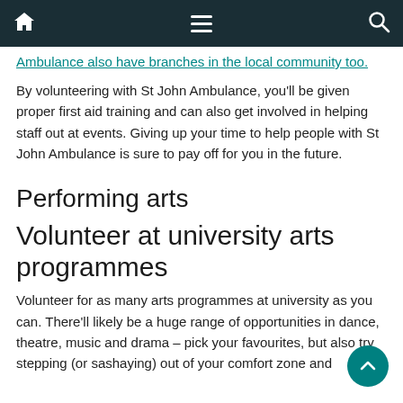Navigation bar with home, menu, and search icons
Ambulance also have branches in the local community too.
By volunteering with St John Ambulance, you'll be given proper first aid training and can also get involved in helping staff out at events. Giving up your time to help people with St John Ambulance is sure to pay off for you in the future.
Performing arts
Volunteer at university arts programmes
Volunteer for as many arts programmes at university as you can. There'll likely be a huge range of opportunities in dance, theatre, music and drama – pick your favourites, but also try stepping (or sashaying) out of your comfort zone and